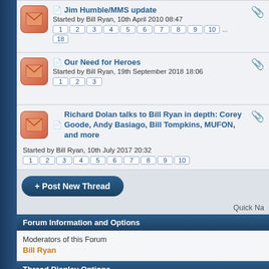Jim Humble/MMS update — Started by Bill Ryan, 10th April 2010 08:47 — Pages: 1 2 3 4 5 6 7 8 9 10 ... 18
Our Need for Heroes — Started by Bill Ryan, 19th September 2018 18:06 — Pages: 1 2 3
Richard Dolan talks to Bill Ryan in depth: Corey Goode, Andy Basiago, Bill Tompkins, MUFON, and more — Started by Bill Ryan, 10th July 2017 20:32 — Pages: 1 2 3 4 5 6 7 8 9 10
+ Post New Thread
Quick Na
Forum Information and Options
Moderators of this Forum
Bill Ryan
Thread Display Options
Show threads from the... Beginning | Sort threads by: Last Post Time | Order threads: Ascending